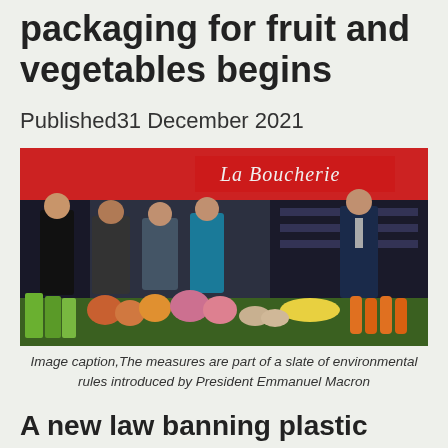packaging for fruit and vegetables begins
Published31 December 2021
[Figure (photo): People standing in a supermarket produce section with a red 'La Boucherie' sign in the background, with a man in a suit gesturing while speaking to a group]
Image caption,The measures are part of a slate of environmental rules introduced by President Emmanuel Macron
A new law banning plastic